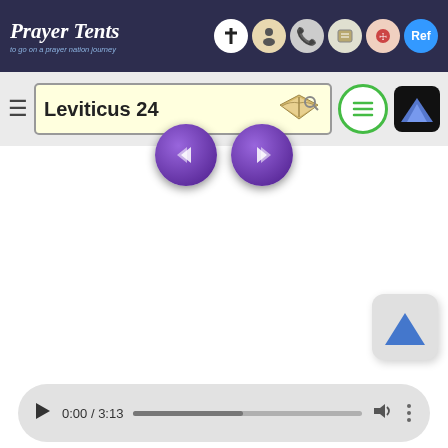Prayer Tents
Leviticus 24
[Figure (screenshot): Audio player showing 0:00 / 3:13 with progress bar]